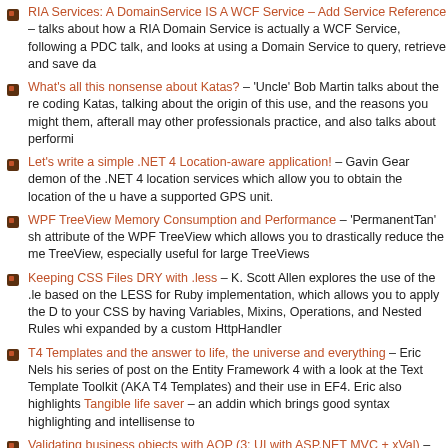RIA Services: A DomainService IS A WCF Service – Add Service Reference... – talks about how a RIA Domain Service is actually a WCF Service, following a PDC talk, and looks at using a Domain Service to query, retrieve and save da...
What's all this nonsense about Katas? – 'Uncle' Bob Martin talks about the re... coding Katas, talking about the origin of this use, and the reasons you might... them, afterall may other professionals practice, and also talks about performi...
Let's write a simple .NET 4 Location-aware application! – Gavin Gear demon... of the .NET 4 location services which allow you to obtain the location of the u... have a supported GPS unit.
WPF TreeView Memory Consumption and Performance – 'PermanentTan' sh... attribute of the WPF TreeView which allows you to drastically reduce the me... TreeView, especially useful for large TreeViews
Keeping CSS Files DRY with .less – K. Scott Allen explores the use of the .le... based on the LESS for Ruby implementation, which allows you to apply the D... to your CSS by having Variables, Mixins, Operations, and Nested Rules whi... expanded by a custom HttpHandler
T4 Templates and the answer to life, the universe and everything – Eric Nels... his series of post on the Entity Framework 4 with a look at the Text Template... Toolkit (AKA T4 Templates) and their use in EF4. Eric also highlights Tangible... life saver – an addin which brings good syntax highlighting and intellisense to...
Validating business objects with AOP (3: UI with ASP.NET MVC + xVal) – Tho... continues his series on Aspect Oriented Programming based validation using... ValidatingAspects library for PostSharp. This part of the series looks at feedi...